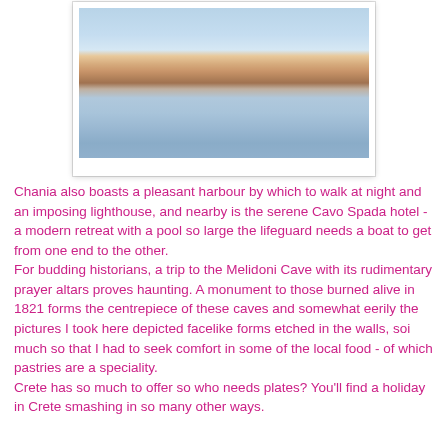[Figure (photo): Photograph of Chania harbour waterfront showing colourful historic buildings reflected in calm water, taken at dusk with a pale sky.]
Chania also boasts a pleasant harbour by which to walk at night and an imposing lighthouse, and nearby is the serene Cavo Spada hotel - a modern retreat with a pool so large the lifeguard needs a boat to get from one end to the other. For budding historians, a trip to the Melidoni Cave with its rudimentary prayer altars proves haunting. A monument to those burned alive in 1821 forms the centrepiece of these caves and somewhat eerily the pictures I took here depicted facelike forms etched in the walls, soi much so that I had to seek comfort in some of the local food - of which pastries are a speciality. Crete has so much to offer so who needs plates? You'll find a holiday in Crete smashing in so many other ways.